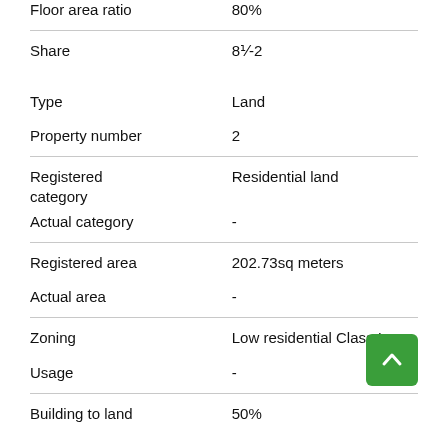| Field | Value |
| --- | --- |
| Floor area ratio | 80% |
| Share | 8⅟-2 |
| Type | Land |
| Property number | 2 |
| Registered category | Residential land |
| Actual category | - |
| Registered area | 202.73sq meters |
| Actual area | - |
| Zoning | Low residential Class I |
| Usage | - |
| Building to land | 50% |